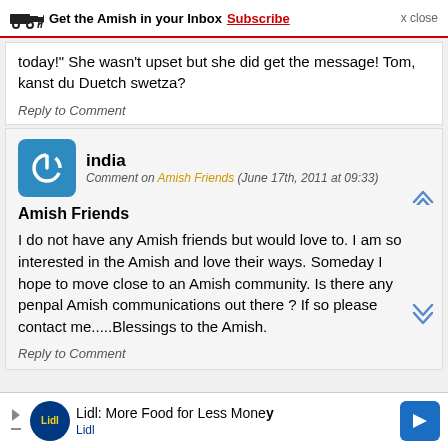Get the Amish in your Inbox Subscribe x close
today!" She wasn't upset but she did get the message! Tom, kanst du Duetch swetza?
Reply to Comment
india
Comment on Amish Friends (June 17th, 2011 at 09:33)
Amish Friends
I do not have any Amish friends but would love to. I am so interested in the Amish and love their ways. Someday I hope to move close to an Amish community. Is there any penpal Amish communications out there ? If so please contact me.....Blessings to the Amish.
Reply to Comment
Lidl: More Food for Less Money Lidl